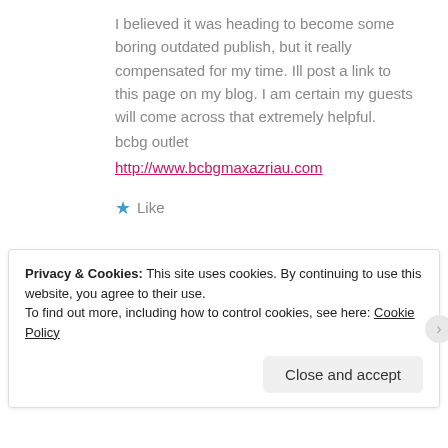I believed it was heading to become some boring outdated publish, but it really compensated for my time. Ill post a link to this page on my blog. I am certain my guests will come across that extremely helpful.
bcbg outlet
http://www.bcbgmaxazriau.com
★ Like
Privacy & Cookies: This site uses cookies. By continuing to use this website, you agree to their use.
To find out more, including how to control cookies, see here: Cookie Policy
Close and accept